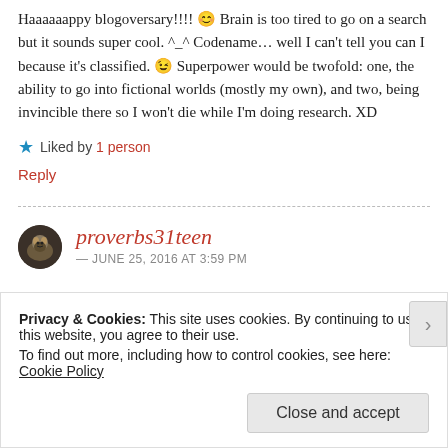Haaaaaappy blogoversary!!!! 😊 Brain is too tired to go on a search but it sounds super cool. ^_^ Codename… well I can't tell you can I because it's classified. 😉 Superpower would be twofold: one, the ability to go into fictional worlds (mostly my own), and two, being invincible there so I won't die while I'm doing research. XD
★ Liked by 1 person
Reply
proverbs31teen
— JUNE 25, 2016 AT 3:59 PM
Privacy & Cookies: This site uses cookies. By continuing to use this website, you agree to their use.
To find out more, including how to control cookies, see here: Cookie Policy
Close and accept